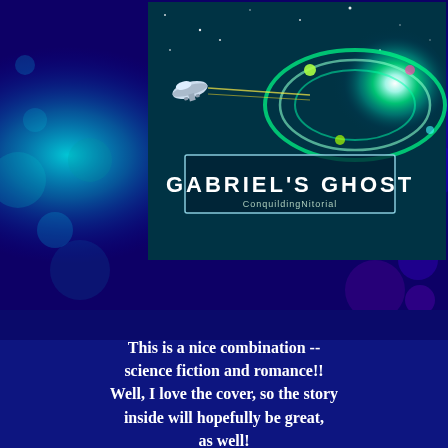[Figure (illustration): Book cover for Gabriel's Ghost showing a spaceship approaching a glowing spiral galaxy/wormhole in space with teal and green colors, with the title GABRIEL'S GHOST in white text with a rectangular border]
[Figure (logo): Goodreads button: '+ Add to goodreads' on a cream/tan rounded rectangle background]
This is a nice combination -- science fiction and romance!! Well, I love the cover, so the story inside will hopefully be great, as well!